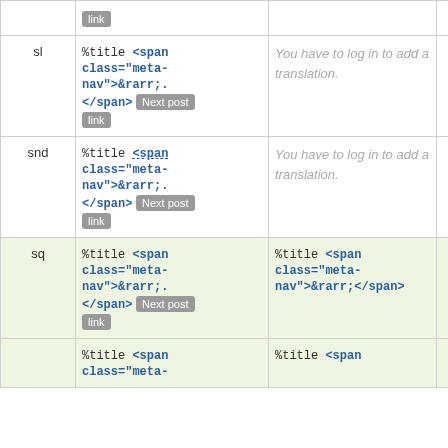| lang | source | translation | action |
| --- | --- | --- | --- |
|  | %title <span class="meta-nav">&rarr;</span> Next post link | You have to log in to add a translation. | Details |
| sl | %title <span class="meta-nav">&rarr;</span> Next post link | You have to log in to add a translation. | Details |
| snd | %title <span class="meta-nav">&rarr;</span> Next post link | You have to log in to add a translation. | Details |
| sq | %title <span class="meta-nav">&rarr;</span> Next post link | %title <span class="meta-nav">&rarr;</span></span> | Details |
|  | %title <span class="meta- | %title <span |  |